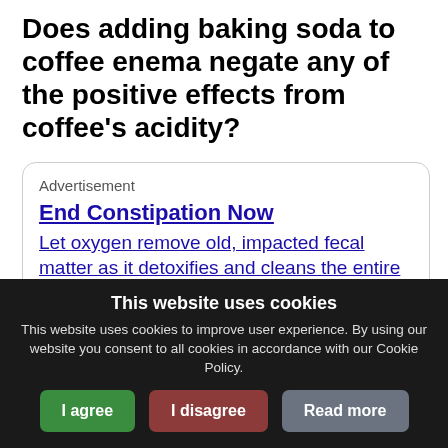Does adding baking soda to coffee enema negate any of the positive effects from coffee's acidity?
[Figure (other): Advertisement box with rounded border. Title link: 'End Constipation Now'. Body link: 'Let oxygen remove old, impacted fecal matter as it detoxifies and cleans the entire small and large ...']
Does adding baking soda to coffee enema
This website uses cookies. This website uses cookies to improve user experience. By using our website you consent to all cookies in accordance with our Cookie Policy.